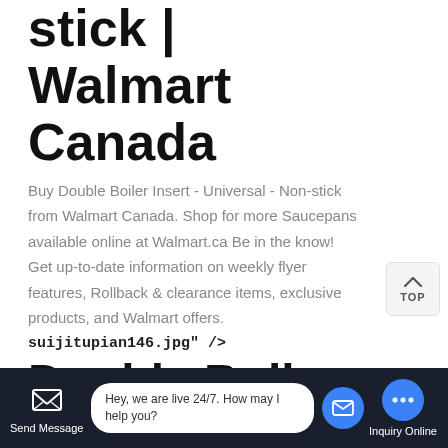stick | Walmart Canada
Buy Double Boiler Insert - Universal - Non-stick from Walmart Canada. Shop for more Saucepans available online at Walmart.ca Be in the know! Get up-to-date information on weekly flyer features, Rollback & clearance items, exclusive products, and Walmart offers.
suijitupian146.jpg" />
Double Boiler - Sears
RSVP International Endurance Double Boiler with Lid 2-qt. 0. Sold by zabiva. $126.68 $88.67. Thunder Group SLDB016 16 Qt. Double Boiler With
Hey, we are live 24/7. How may I help you?
Send Message   Inquiry Online